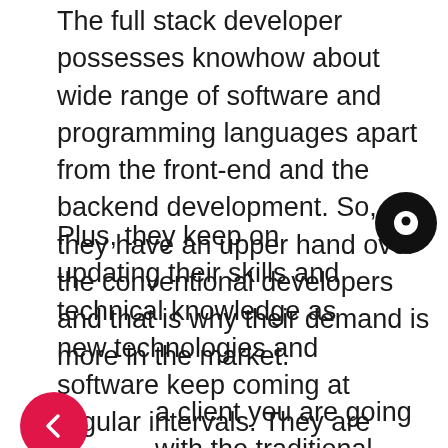The full stack developer possesses knowhow about wide range of software and programming languages apart from the front-end and the backend development. So, they have an upper hand over the conventional developers and that is why their demand is more in the market.
Plus, they keep on updating their skills and technical knowledge as new technologies and software keep coming at regular intervals. They are well acquainted with the modern and recent trends prevailing in the mobile app development industry.
As a client you are going with the traditional method of app development, then you need to hire the project manager, the front-end and the back-